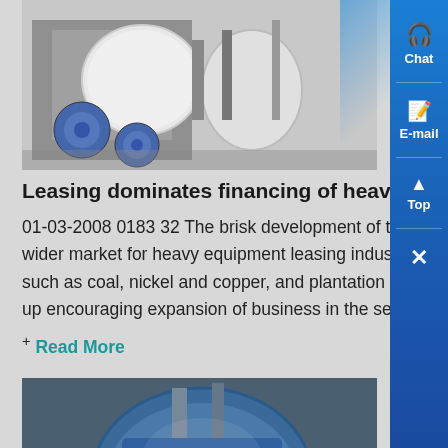[Figure (photo): Industrial heavy equipment - white large cylindrical machinery with blue fan/blower units in a factory setting]
Leasing dominates financing of heavy equipment
01-03-2008 0183 32 The brisk development of the mining, planta and infrastructure sectors has provided wider market for heavy equipment leasing industry In the past several years the prices o mining products such as coal, nickel and copper, and plantation commodities like palm oil and rubber have continued to scale up encouraging expansion of business in the sectors Indonesia...
+ Read More
[Figure (photo): Industrial machinery interior - large blue cylindrical equipment in a factory or plant setting]
PT Tekniko Indonesia We construct your wealthy future